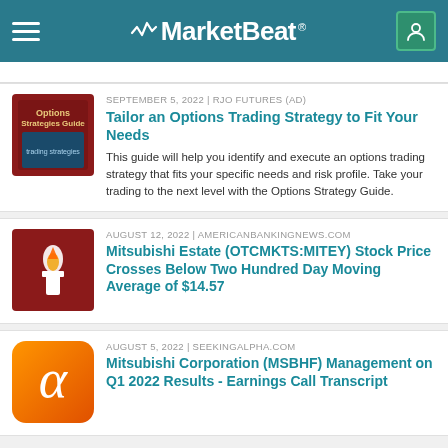MarketBeat
SEPTEMBER 5, 2022 | RJO FUTURES (AD)
Tailor an Options Trading Strategy to Fit Your Needs
This guide will help you identify and execute an options trading strategy that fits your specific needs and risk profile. Take your trading to the next level with the Options Strategy Guide.
AUGUST 12, 2022 | AMERICANBANKINGNEWS.COM
Mitsubishi Estate (OTCMKTS:MITEY) Stock Price Crosses Below Two Hundred Day Moving Average of $14.57
AUGUST 5, 2022 | SEEKINGALPHA.COM
Mitsubishi Corporation (MSBHF) Management on Q1 2022 Results - Earnings Call Transcript